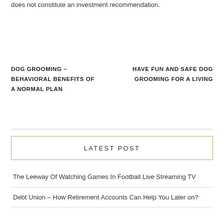does not constitute an investment recommendation.
DOG GROOMING – BEHAVIORAL BENEFITS OF A NORMAL PLAN
HAVE FUN AND SAFE DOG GROOMING FOR A LIVING
LATEST POST
The Leeway Of Watching Games In Football Live Streaming TV
Debt Union – How Retirement Accounts Can Help You Later on?